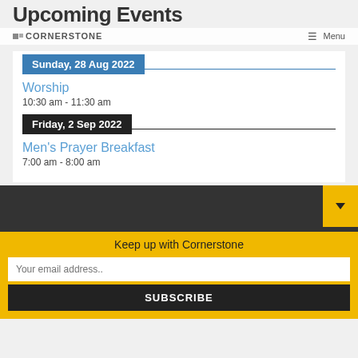Upcoming Events
CORNERSTONE  Menu
Sunday, 28 Aug 2022
Worship
10:30 am - 11:30 am
Friday, 2 Sep 2022
Men's Prayer Breakfast
7:00 am - 8:00 am
Keep up with Cornerstone
Your email address..
SUBSCRIBE